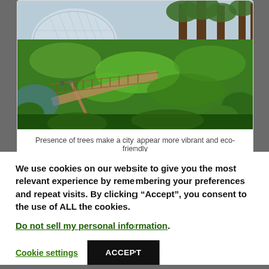[Figure (photo): Aerial view of a lush green urban garden with tall supertree structures on the right, a dome-shaped greenhouse on the left, a walkway through greenery, and people walking on a bridge path. Appears to be Gardens by the Bay, Singapore.]
Presence of trees make a city appear more vibrant and eco-friendly
We use cookies on our website to give you the most relevant experience by remembering your preferences and repeat visits. By clicking “Accept”, you consent to the use of ALL the cookies.
Do not sell my personal information.
Cookie settings  ACCEPT